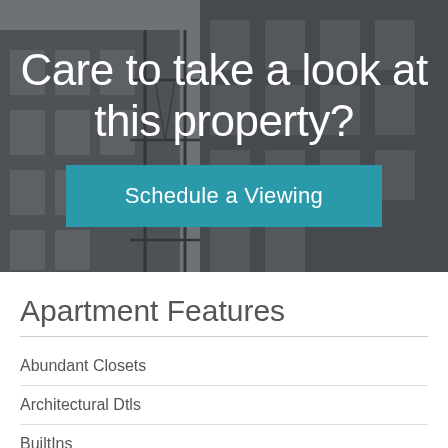[Figure (photo): Black and white photo of urban apartment building exterior with fire escapes, used as hero background image]
Care to take a look at this property?
Schedule a Viewing
Apartment Features
Abundant Closets
Architectural Dtls
BuiltIns